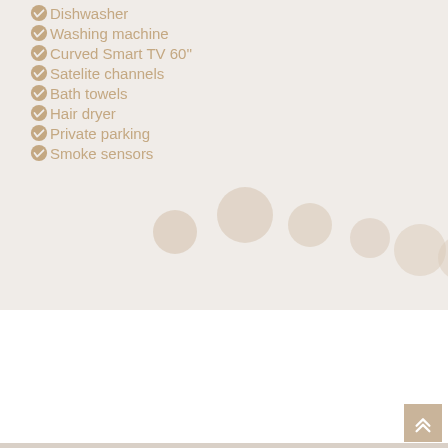Dishwasher
Washing machine
Curved Smart TV 60''
Satelite channels
Bath towels
Hair dryer
Private parking
Smoke sensors